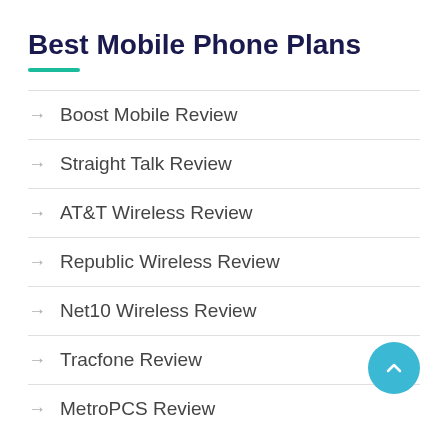Best Mobile Phone Plans
Boost Mobile Review
Straight Talk Review
AT&T Wireless Review
Republic Wireless Review
Net10 Wireless Review
Tracfone Review
MetroPCS Review